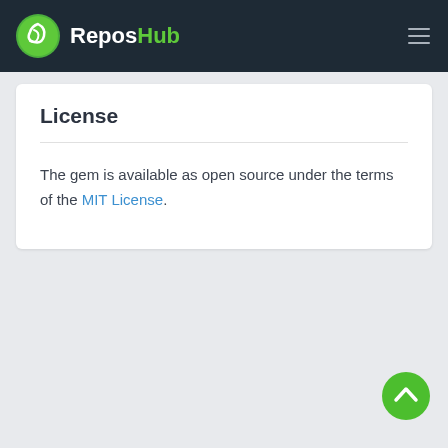ReposHub
License
The gem is available as open source under the terms of the MIT License.